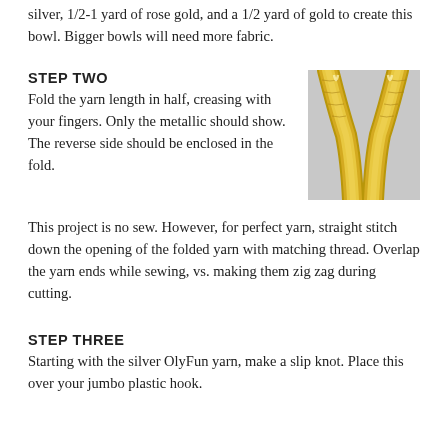silver, 1/2-1 yard of rose gold, and a 1/2 yard of gold to create this bowl. Bigger bowls will need more fabric.
STEP TWO
Fold the yarn length in half, creasing with your fingers. Only the metallic should show. The reverse side should be enclosed in the fold.
[Figure (photo): Close-up photo of gold metallic yarn folded in a V shape, showing the shiny metallic side on a light background.]
This project is no sew. However, for perfect yarn, straight stitch down the opening of the folded yarn with matching thread. Overlap the yarn ends while sewing, vs. making them zig zag during cutting.
STEP THREE
Starting with the silver OlyFun yarn, make a slip knot. Place this over your jumbo plastic hook.